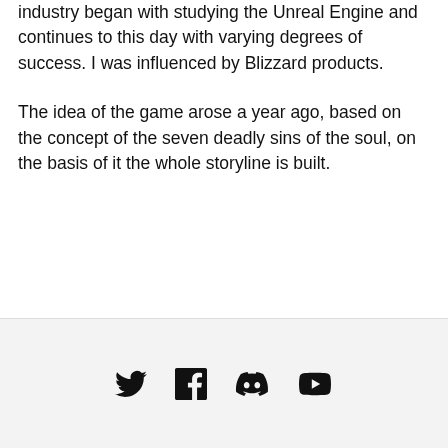industry began with studying the Unreal Engine and continues to this day with varying degrees of success. I was influenced by Blizzard products.
The idea of the game arose a year ago, based on the concept of the seven deadly sins of the soul, on the basis of it the whole storyline is built.
[Figure (other): Social media icons row: Twitter bird icon, Facebook 'f' icon, Discord logo icon, YouTube play button icon]